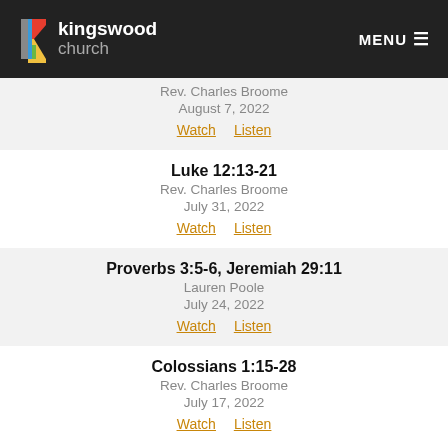kingswood church  MENU
Rev. Charles Broome
August 7, 2022
Watch  Listen
Luke 12:13-21
Rev. Charles Broome
July 31, 2022
Watch  Listen
Proverbs 3:5-6, Jeremiah 29:11
Lauren Poole
July 24, 2022
Watch  Listen
Colossians 1:15-28
Rev. Charles Broome
July 17, 2022
Watch  Listen